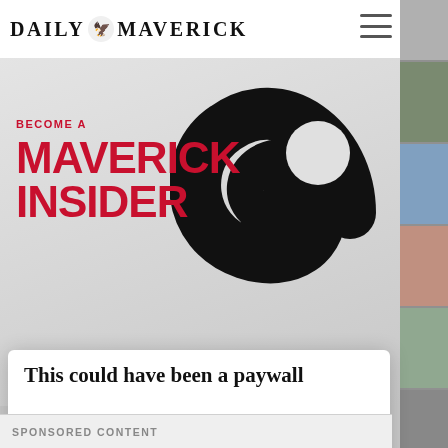DAILY MAVERICK
[Figure (illustration): Daily Maverick logo with decorative eagle/bird graphic between DAILY and MAVERICK text]
[Figure (illustration): Large black swirl/spiral graphic on grey gradient background banner with 'BECOME A MAVERICK INSIDER' promotional text in red]
This could have been a paywall
On another site this would have been a paywall. Maverick Insider keeps our content free for all.
Become an Insider
SPONSORED CONTENT